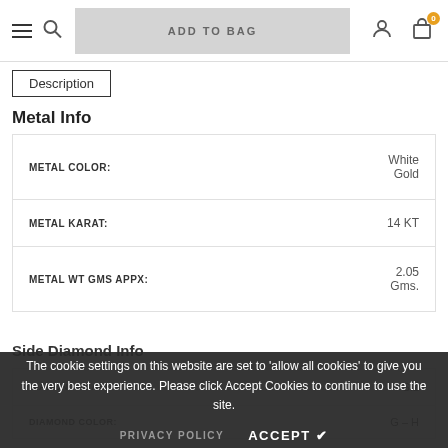ADD TO BAG
Description
Metal Info
| Property | Value |
| --- | --- |
| METAL COLOR: | White Gold |
| METAL KARAT: | 14 KT |
| METAL WT GMS APPX: | 2.05 Gms. |
Side Diamond Info
| Property | Value |
| --- | --- |
| DIAMOND CLARITY: | SI2 |
| DIAMOND COLOR: | G – H |
The cookie settings on this website are set to 'allow all cookies' to give you the very best experience. Please click Accept Cookies to continue to use the site.
PRIVACY POLICY   ACCEPT ✔